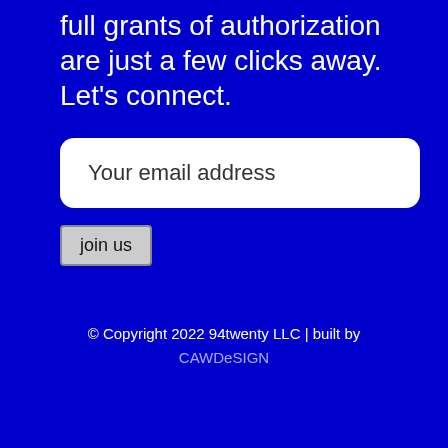full grants of authorization are just a few clicks away. Let's connect.
[Figure (other): Email input field with placeholder text 'Your email address' on white rounded rectangle background]
[Figure (other): Join us button with gray background and border]
© Copyright 2022 94twenty LLC | built by CAWDeSIGN